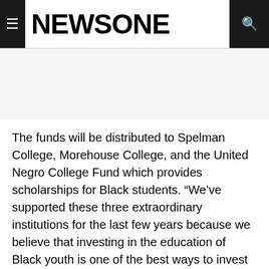NEWSONE
The funds will be distributed to Spelman College, Morehouse College, and the United Negro College Fund which provides scholarships for Black students. “We’ve supported these three extraordinary institutions for the last few years because we believe that investing in the education of Black youth is one of the best ways to invest in America’s future,” the couple said in a statement, according to the news outlet. “Both of us had the privilege of a great education and we want to